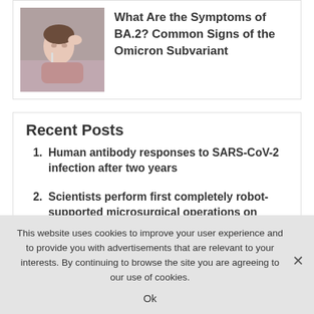[Figure (photo): Person lying down appearing ill, holding head]
What Are the Symptoms of BA.2? Common Signs of the Omicron Subvariant
Recent Posts
Human antibody responses to SARS-CoV-2 infection after two years
Scientists perform first completely robot-supported microsurgical operations on humans
This website uses cookies to improve your user experience and to provide you with advertisements that are relevant to your interests. By continuing to browse the site you are agreeing to our use of cookies.
Ok